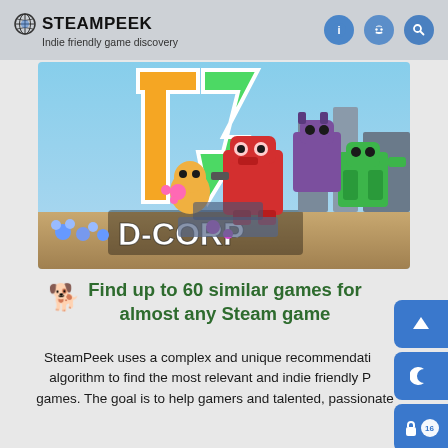STEAMPEEK — Indie friendly game discovery
[Figure (screenshot): D-CORP game banner showing colorful robot/block characters in a battle scene with orange/green/purple robots and the D-CORP logo]
Find up to 60 similar games for almost any Steam game
SteamPeek uses a complex and unique recommendation algorithm to find the most relevant and indie friendly PC games. The goal is to help gamers and talented, passionate